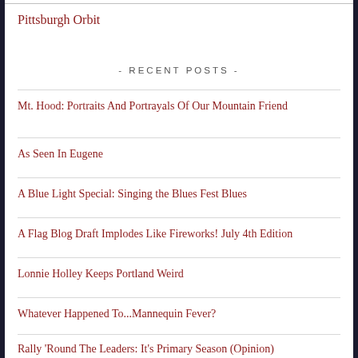Pittsburgh Orbit
- RECENT POSTS -
Mt. Hood: Portraits And Portrayals Of Our Mountain Friend
As Seen In Eugene
A Blue Light Special: Singing the Blues Fest Blues
A Flag Blog Draft Implodes Like Fireworks! July 4th Edition
Lonnie Holley Keeps Portland Weird
Whatever Happened To...Mannequin Fever?
Rally 'Round The Leaders: It's Primary Season (Opinion)